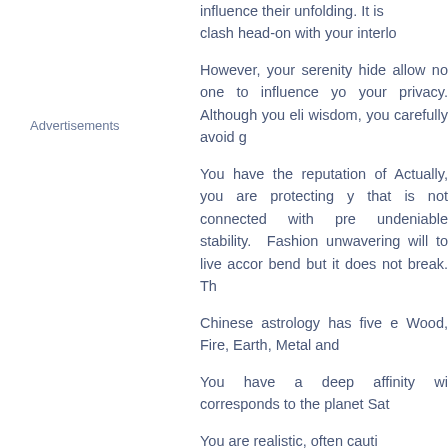influence their unfolding. It is clash head-on with your interlo
However, your serenity hide allow no one to influence yo your privacy. Although you eli wisdom, you carefully avoid g
You have the reputation of Actually, you are protecting y that is not connected with pre undeniable stability. Fashion unwavering will to live accor bend but it does not break. Th
Chinese astrology has five e Wood, Fire, Earth, Metal and
You have a deep affinity wi corresponds to the planet Sat
You are realistic, often cauti
Advertisements